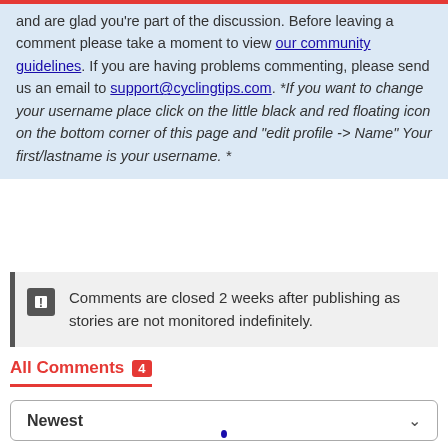and are glad you're part of the discussion. Before leaving a comment please take a moment to view our community guidelines. If you are having problems commenting, please send us an email to support@cyclingtips.com. *If you want to change your username place click on the little black and red floating icon on the bottom corner of this page and "edit profile -> Name" Your first/lastname is your username. *
Comments are closed 2 weeks after publishing as stories are not monitored indefinitely.
All Comments 4
Newest